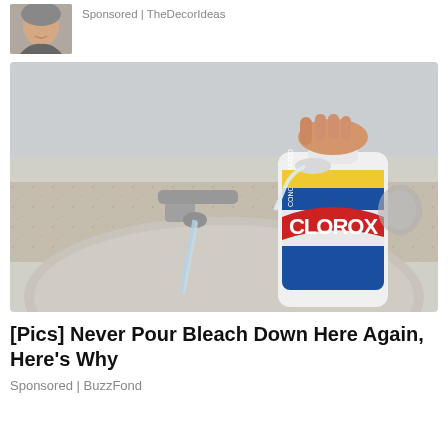[Figure (photo): Top ad: small photo of person's face, with text 'Sponsored | TheDecorIdeas']
[Figure (photo): Photo of a hand pouring Clorox concentrated bleach from a white jug into a bathroom sink faucet, with granite countertop and round sink basin visible]
[Pics] Never Pour Bleach Down Here Again, Here's Why
Sponsored | BuzzFond